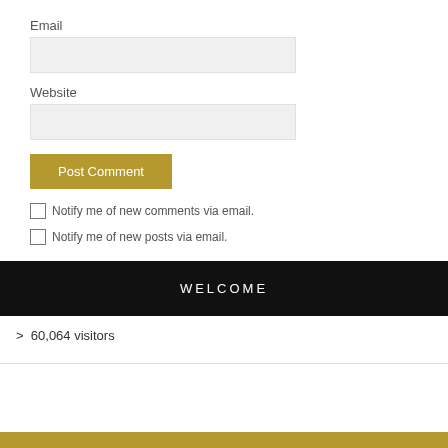Email
Website
Post Comment
Notify me of new comments via email.
Notify me of new posts via email.
WELCOME
> 60,064 visitors